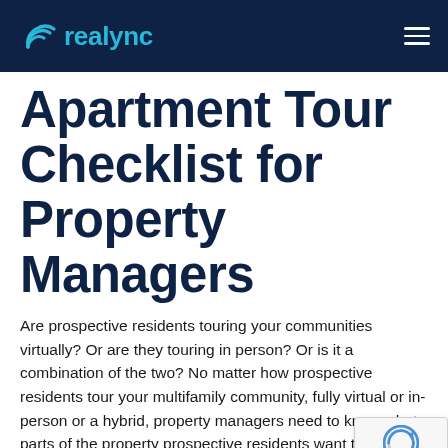realync
Apartment Tour Checklist for Property Managers
Are prospective residents touring your communities virtually? Or are they touring in person? Or is it a combination of the two? No matter how prospective residents tour your multifamily community, fully virtual or in-person or a hybrid, property managers need to know what parts of the property prospective residents want to see and need an apartment tour checklist.